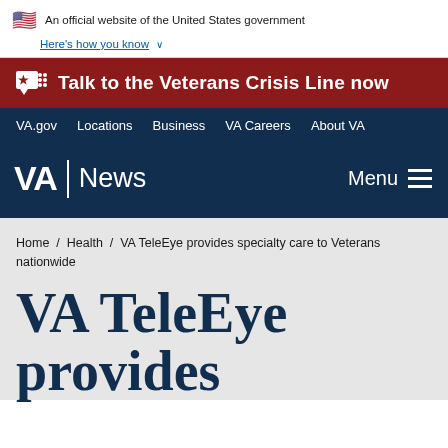An official website of the United States government
Here's how you know
Talk to the Veterans Crisis Line now
VA.gov  Locations  Business  VA Careers  About VA
VA | News  Menu
Home / Health / VA TeleEye provides specialty care to Veterans nationwide
VA TeleEye provides